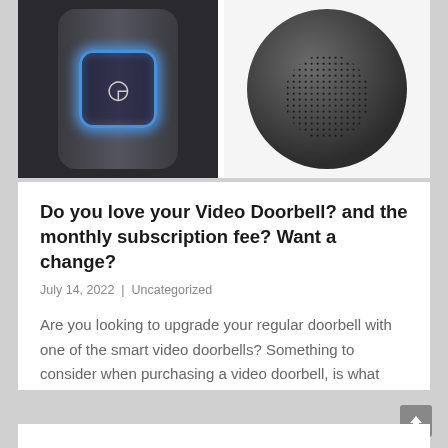[Figure (photo): Left: Smart video doorbell with blue glowing rounded-square button and bell icon on dark gray device body. Right: Round black smart speaker with dotted speaker grille pattern.]
Do you love your Video Doorbell? and the monthly subscription fee? Want a change?
July 14, 2022  |  Uncategorized
Are you looking to upgrade your regular doorbell with one of the smart video doorbells? Something to consider when purchasing a video doorbell, is what happens to the footage? Where is it stored ad for how long? And do you want to pay a subscription fee? Many people who are first time buyers for a...